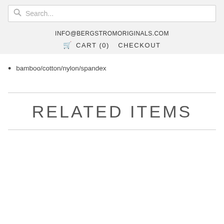Search... | INFO@BERGSTROMORIGINALS.COM | CART (0) CHECKOUT
bamboo/cotton/nylon/spandex
RELATED ITEMS